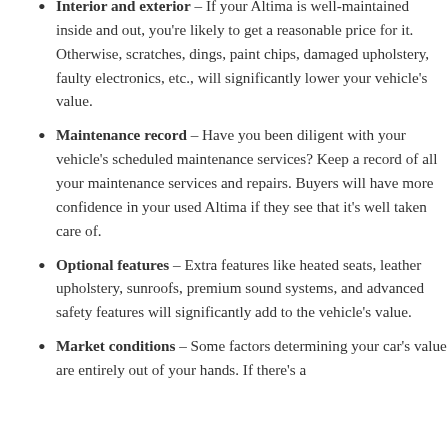Interior and exterior – If your Altima is well-maintained inside and out, you're likely to get a reasonable price for it. Otherwise, scratches, dings, paint chips, damaged upholstery, faulty electronics, etc., will significantly lower your vehicle's value.
Maintenance record – Have you been diligent with your vehicle's scheduled maintenance services? Keep a record of all your maintenance services and repairs. Buyers will have more confidence in your used Altima if they see that it's well taken care of.
Optional features – Extra features like heated seats, leather upholstery, sunroofs, premium sound systems, and advanced safety features will significantly add to the vehicle's value.
Market conditions – Some factors determining your car's value are entirely out of your hands. If there's a